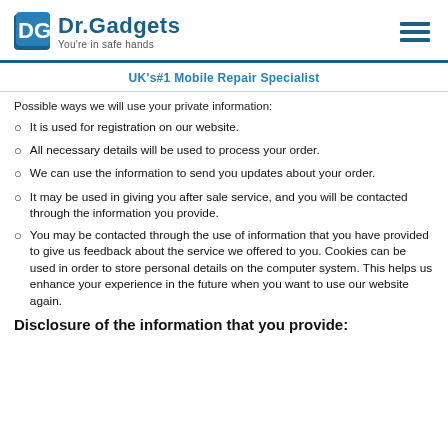Dr.Gadgets You're in safe hands
UK's#1 Mobile Repair Specialist
Possible ways we will use your private information:
It is used for registration on our website.
All necessary details will be used to process your order.
We can use the information to send you updates about your order.
It may be used in giving you after sale service, and you will be contacted through the information you provide.
You may be contacted through the use of information that you have provided to give us feedback about the service we offered to you. Cookies can be used in order to store personal details on the computer system. This helps us enhance your experience in the future when you want to use our website again.
Disclosure of the information that you provide: